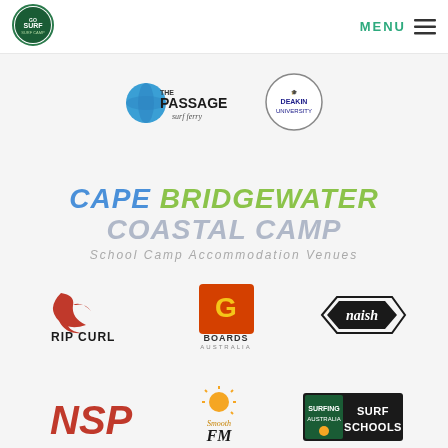[Figure (logo): Go Surf logo - circular green badge with surf text]
MENU
[Figure (logo): The Passage surf ferry logo with blue globe]
[Figure (logo): Deakin University circular logo]
[Figure (logo): Cape Bridgewater Coastal Camp logo with School Camp Accommodation Venues tagline]
[Figure (logo): Rip Curl logo in red and black]
[Figure (logo): G Boards Australia logo]
[Figure (logo): Naish logo in black script]
[Figure (logo): NSP logo in red bold letters]
[Figure (logo): Smoothfm FM radio logo]
[Figure (logo): Surf Schools surfing australia logo]